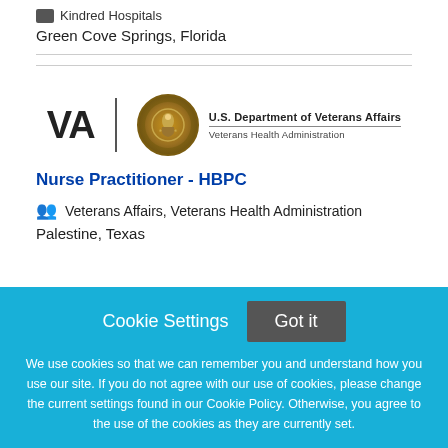Kindred Hospitals
Green Cove Springs, Florida
[Figure (logo): U.S. Department of Veterans Affairs / Veterans Health Administration logo with VA letters, seal, and text]
Nurse Practitioner - HBPC
Veterans Affairs, Veterans Health Administration
Palestine, Texas
Cookie Settings
Got it
We use cookies so that we can remember you and understand how you use our site. If you do not agree with our use of cookies, please change the current settings found in our Cookie Policy. Otherwise, you agree to the use of the cookies as they are currently set.